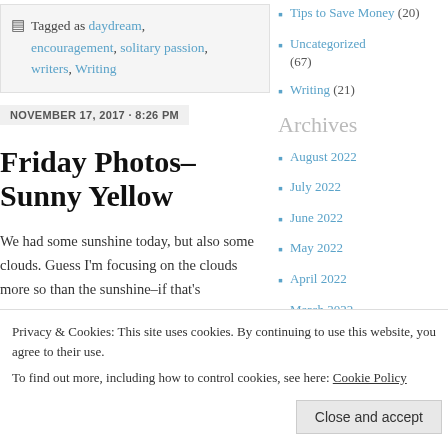Tagged as daydream, encouragement, solitary passion, writers, Writing
NOVEMBER 17, 2017 · 8:26 PM
Friday Photos–Sunny Yellow
We had some sunshine today, but also some clouds. Guess I'm focusing on the clouds more so than the sunshine–if that's
Tips to Save Money (20)
Uncategorized (67)
Writing (21)
Archives
August 2022
July 2022
June 2022
May 2022
April 2022
March 2022
Privacy & Cookies: This site uses cookies. By continuing to use this website, you agree to their use. To find out more, including how to control cookies, see here: Cookie Policy
Close and accept